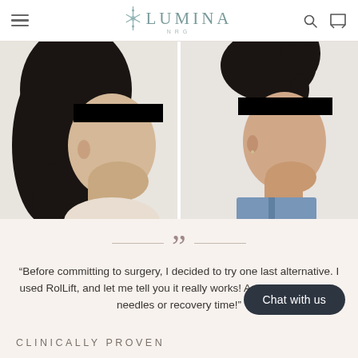LUMINA NRG
[Figure (photo): Before and after side-by-side profile photos of a woman's jawline/neck area. Left photo shows before with longer dark hair, right photo shows after with hair in a ponytail. Eyes redacted with black bars in both photos.]
“Before committing to surgery, I decided to try one last alternative. I used RolLift, and let me tell you it really works! Amazing results, no needles or recovery time!”
Chat with us
CLINICALLY PROVEN